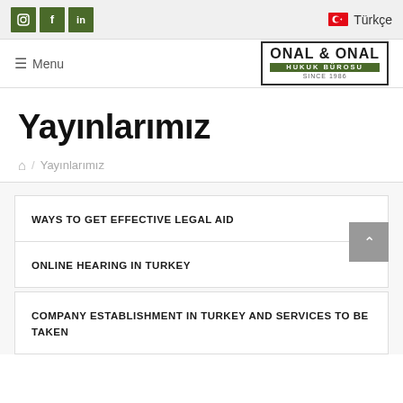Social icons: Instagram, Facebook, LinkedIn | Türkçe language toggle | Menu | ONAL & ONAL HUKUK BÜROSU SINCE 1986
Yayınlarımız
🏠 / Yayınlarımız
WAYS TO GET EFFECTIVE LEGAL AID
ONLINE HEARING IN TURKEY
COMPANY ESTABLISHMENT IN TURKEY AND SERVICES TO BE TAKEN